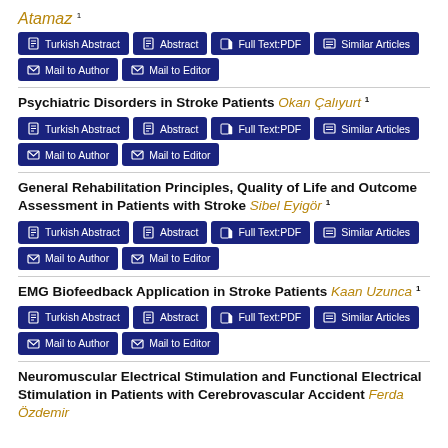Atamaz 1
Turkish Abstract | Abstract | Full Text:PDF | Similar Articles | Mail to Author | Mail to Editor
Psychiatric Disorders in Stroke Patients — Okan Çalıyurt 1
Turkish Abstract | Abstract | Full Text:PDF | Similar Articles | Mail to Author | Mail to Editor
General Rehabilitation Principles, Quality of Life and Outcome Assessment in Patients with Stroke — Sibel Eyigör 1
Turkish Abstract | Abstract | Full Text:PDF | Similar Articles | Mail to Author | Mail to Editor
EMG Biofeedback Application in Stroke Patients — Kaan Uzunca 1
Turkish Abstract | Abstract | Full Text:PDF | Similar Articles | Mail to Author | Mail to Editor
Neuromuscular Electrical Stimulation and Functional Electrical Stimulation in Patients with Cerebrovascular Accident — Ferda Özdemir